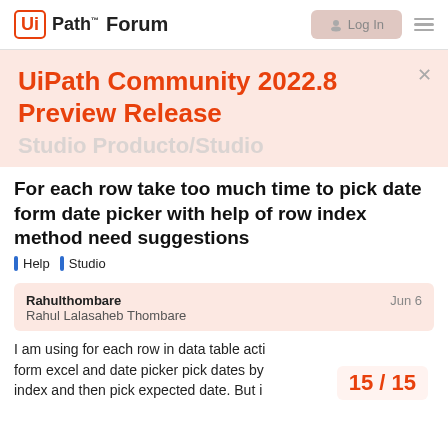UiPath™ Forum
UiPath Community 2022.8 Preview Release
For each row take too much time to pick date form date picker with help of row index method need suggestions
Help  Studio
Rahulthombare
Rahul Lalasaheb Thombare
Jun 6
I am using for each row in data table acti form excel and date picker pick dates by index and then pick expected date. But i
15 / 15